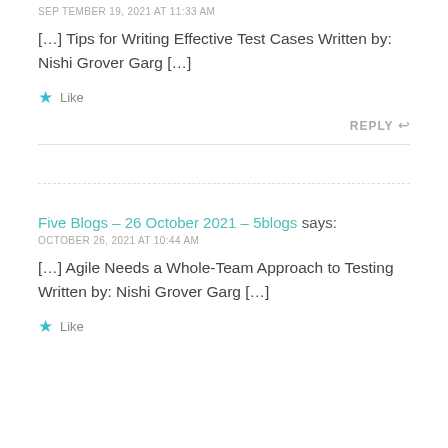SEPTEMBER 19, 2021 AT 11:33 AM
[…] Tips for Writing Effective Test Cases Written by: Nishi Grover Garg […]
★ Like
REPLY ↩
Five Blogs – 26 October 2021 – 5blogs says:
OCTOBER 26, 2021 AT 10:44 AM
[…] Agile Needs a Whole-Team Approach to Testing Written by: Nishi Grover Garg […]
★ Like